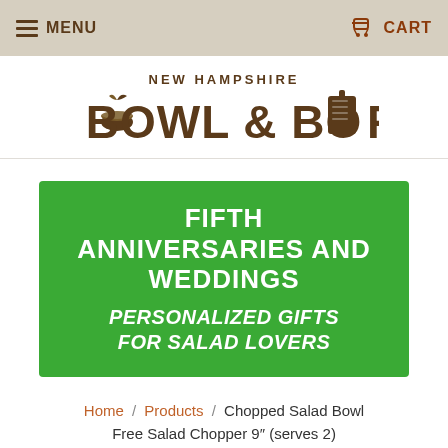MENU  CART
[Figure (logo): New Hampshire Bowl & Board logo with bowl and cutting board icons]
[Figure (infographic): Green banner reading: FIFTH ANNIVERSARIES AND WEDDINGS — PERSONALIZED GIFTS FOR SALAD LOVERS]
Home / Products / Chopped Salad Bowl Free Salad Chopper 9″ (serves 2)